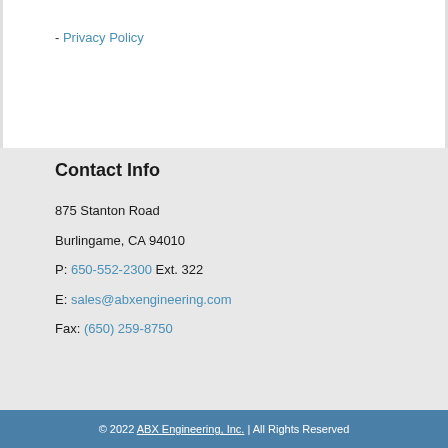- Privacy Policy
Contact Info
875 Stanton Road
Burlingame, CA 94010
P: 650-552-2300 Ext. 322
E: sales@abxengineering.com
Fax: (650) 259-8750
© 2022 ABX Engineering, Inc. | All Rights Reserved